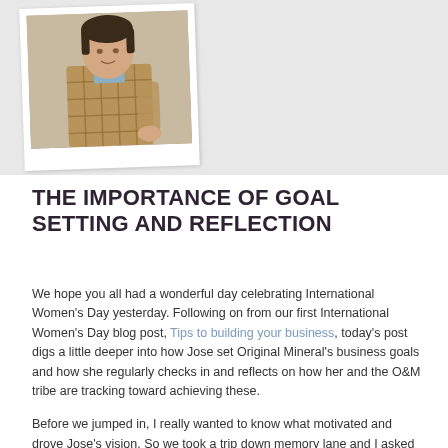[Figure (photo): A polaroid-style photograph of a person wearing a plaid/checked jacket, partially visible at the top of the page against a light grey background.]
THE IMPORTANCE OF GOAL SETTING AND REFLECTION
We hope you all had a wonderful day celebrating International Women's Day yesterday. Following on from our first International Women's Day blog post, Tips to building your business, today's post digs a little deeper into how Jose set Original Mineral's business goals and how she regularly checks in and reflects on how her and the O&M tribe are tracking toward achieving these.
Before we jumped in, I really wanted to know what motivated and drove Jose's vision. So we took a trip down memory lane and I asked her to tell me who inspired her the most.